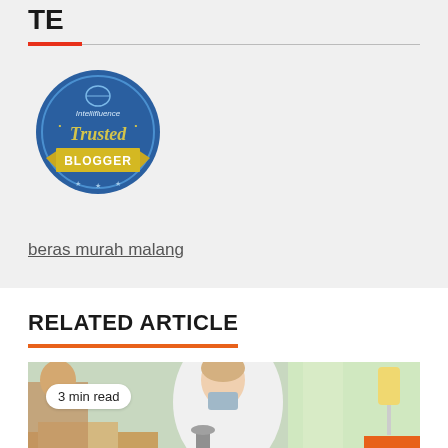TE
[Figure (logo): Intellifluence Trusted Blogger badge - circular blue badge with yellow 'Trusted' text and gold ribbon banner saying 'BLOGGER']
beras murah malang
RELATED ARTICLE
[Figure (photo): Photo of a medical professional in a white lab coat leaning over a patient, with medical equipment visible including an IV bag. A '3 min read' badge is overlaid on the bottom-left of the image.]